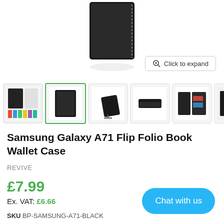[Figure (photo): Top portion of a black Samsung Galaxy A71 Flip Folio Book Wallet Case shown against white background]
[Figure (screenshot): Click to expand magnifier button overlay on product image]
[Figure (photo): Row of product thumbnail images: multi-color options collage, black wallet case front (active/selected with green border), case on stand, case laying flat, case open showing card slots, case with phone and magnifier]
Samsung Galaxy A71 Flip Folio Book Wallet Case
REVIVE
£7.99
Ex. VAT: £6.66
Chat with us
SKU BP-SAMSUNG-A71-BLACK